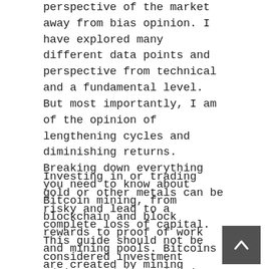perspective of the market away from bias opinion. I have explored many different data points and perspective from technical and a fundamental level. But most importantly, I am of the opinion of lengthening cycles and diminishing returns. Breaking down everything you need to know about Bitcoin mining, from blockchain and block rewards to proof of work and mining pools. Bitcoins are created by mining software and hardware at a specified rate. This rate splits in half every four years, slowing down the number of coins created.
Investing in or trading gold or other metals can be risky and lead to a complete loss of capital. This guide should not be considered investment advice, and investing in gold CFDs is done at your own risk. The below prediction chart outlines some of the minimum and maximum BTC price forecasts offered by technical analysts and industry experts in an easy to digest format. Bitcoin is accepted most places these days, and can even be purchased at grocery stores through Coinstar machines. It is now offered through PayPal, Venmo, and the likes of VISA are now supporting it. After the bull market peak is eventually put in, the next couple of